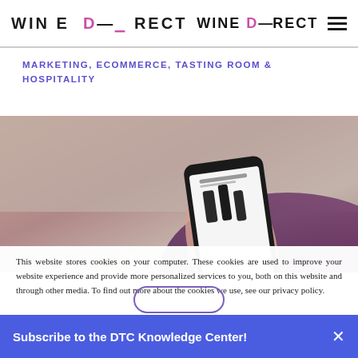WINE DIRECT (logo) | hamburger menu
MARKETING, ECOMMERCE, TASTING ROOM & HOSPITALITY
[Figure (photo): Person holding a smartphone displaying a wine shopping app with wine bottle listings]
This website stores cookies on your computer. These cookies are used to improve your website experience and provide more personalized services to you, both on this website and through other media. To find out more about the cookies we use, see our privacy policy.
Subscribe to the DTC Knowledge Center!